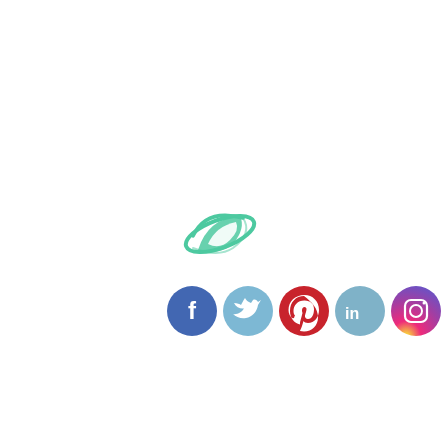[Figure (logo): A teal/green planet orbit logo symbol — an elliptical orbit ring around a tilted planet shape, rendered in teal green color.]
[Figure (logo): Row of five social media icons: Facebook (blue circle with white F), Twitter (light blue circle with white bird), Pinterest (red circle with white P), LinkedIn (steel blue circle with white 'in'), Instagram (purple-pink gradient circle with white camera outline).]